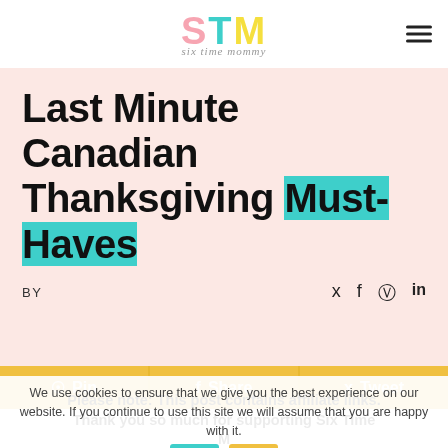STM Six Time Mommy [logo/nav]
Last Minute Canadian Thanksgiving Must-Haves
BY
Pin  Share  Tweet
We use cookies to ensure that we give you the best experience on our website. If you continue to use this site we will assume that you are happy with it.
Please note: This post contains affiliate links. Thank you so much for supporting Six Time M...